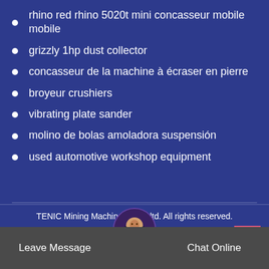rhino red rhino 5020t mini concasseur mobile mobile
grizzly 1hp dust collector
concasseur de la machine à écraser en pierre
broyeur crushiers
vibrating plate sander
molino de bolas amoladora suspensión
used automotive workshop equipment
TENIC Mining Machinery Co., ltd. All rights reserved.
Sitemap
Leave Message
Chat Online